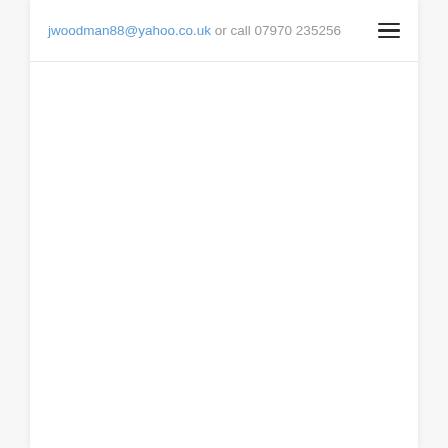jwoodman88@yahoo.co.uk or call 07970 235256